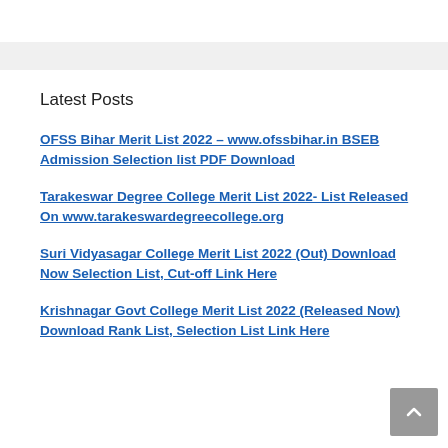Latest Posts
OFSS Bihar Merit List 2022 – www.ofssbihar.in BSEB Admission Selection list PDF Download
Tarakeswar Degree College Merit List 2022- List Released On www.tarakeswardegreecollege.org
Suri Vidyasagar College Merit List 2022 (Out) Download Now Selection List, Cut-off Link Here
Krishnagar Govt College Merit List 2022 (Released Now) Download Rank List, Selection List Link Here